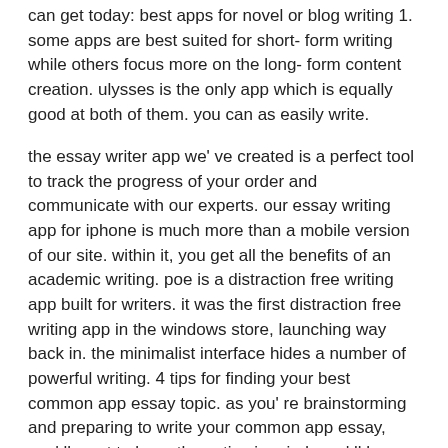can get today: best apps for novel or blog writing 1. some apps are best suited for short- form writing while others focus more on the long- form content creation. ulysses is the only app which is equally good at both of them. you can as easily write.
the essay writer app we' ve created is a perfect tool to track the progress of your order and communicate with our experts. our essay writing app for iphone is much more than a mobile version of our site. within it, you get all the benefits of an academic writing. poe is a distraction free writing app built for writers. it was the first distraction free writing app in the windows store, launching way back in. the minimalist interface hides a number of powerful writing. 4 tips for finding your best common app essay topic. as you' re brainstorming and preparing to write your common app essay, you' ll want to keep these tips in mind. you' ll have to search for the best.
choosing an essay topic for the common app is one of the hardest things ever. it' s right up there with " getting out of bed in the morning" and " eating a burrito gracefully." this quiz will